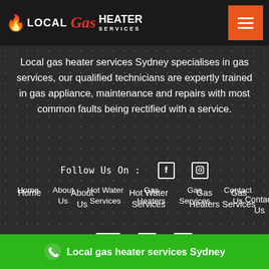LOCAL Gas HEATER SERVICES
Local gas heater services Sydney specialises in gas services, our qualified technicians are expertly trained in gas appliance, maintenance and repairs with most common faults being rectified with a service.
Follow Us On :  [Facebook]  [Instagram]
Home
About Us
Hot Water Services
Gas Heaters
Gas Services
Contact Us
© Copyright 2021 Local gas heater services Sydney. All rights reserved - Sitemap
Local gas heater services Sydney